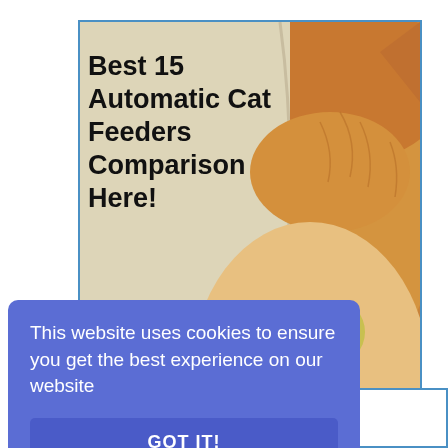[Figure (photo): A close-up photo of an orange tabby cat peeking out from under a white blanket or sheet. The cat's face fills most of the frame with one eye visible and a paw shown. On the upper-left of the image, bold black text reads 'Best 15 Automatic Cat Feeders Comparison Here!' overlaid on a light background area.]
This website uses cookies to ensure you get the best experience on our website
GOT IT!